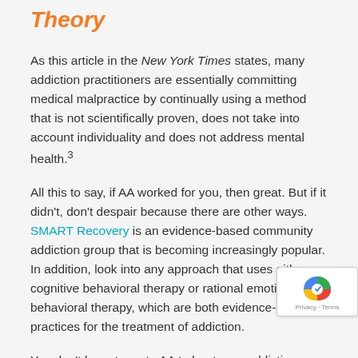Theory
As this article in the New York Times states, many addiction practitioners are essentially committing medical malpractice by continually using a method that is not scientifically proven, does not take into account individuality and does not address mental health.³
All this to say, if AA worked for you, then great. But if it didn't, don't despair because there are other ways. SMART Recovery is an evidence-based community addiction group that is becoming increasingly popular. In addition, look into any approach that uses either cognitive behavioral therapy or rational emotive behavioral therapy, which are both evidence-based practices for the treatment of addiction.
You don't have to go to AA to beat your addiction. There is a great deal you can do on your own to overcome addiction. Do your research, make sure that whatever